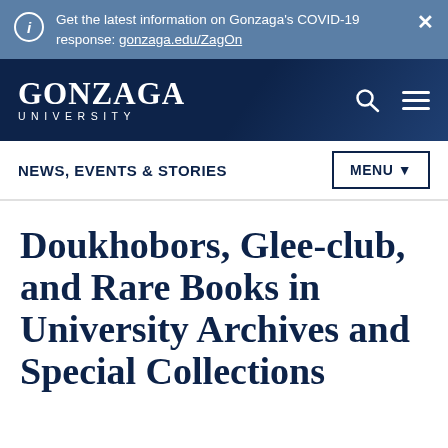Get the latest information on Gonzaga's COVID-19 response: gonzaga.edu/ZagOn
[Figure (logo): Gonzaga University logo in white text on dark navy background with search and menu icons]
NEWS, EVENTS & STORIES
Doukhobors, Glee-club, and Rare Books in University Archives and Special Collections